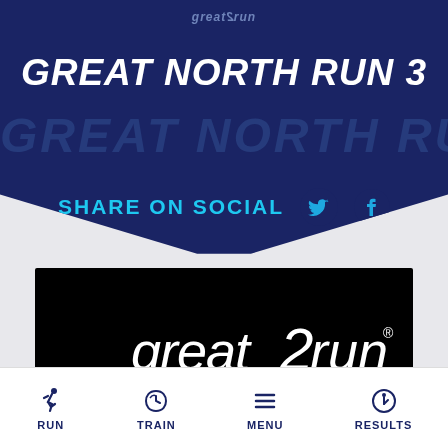GREAT NORTH RUN 3
great2run (logo watermark)
SHARE ON SOCIAL
[Figure (logo): Great2Run logo on black background with teal brush stroke and #RUNYOURCITY hashtag text]
RUN   TRAIN   MENU   RESULTS